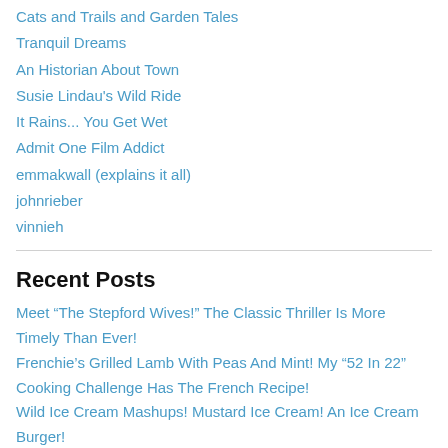Cats and Trails and Garden Tales
Tranquil Dreams
An Historian About Town
Susie Lindau's Wild Ride
It Rains... You Get Wet
Admit One Film Addict
emmakwall (explains it all)
johnrieber
vinnieh
Recent Posts
Meet “The Stepford Wives!” The Classic Thriller Is More Timely Than Ever!
Frenchie’s Grilled Lamb With Peas And Mint! My “52 In 22” Cooking Challenge Has The French Recipe!
Wild Ice Cream Mashups! Mustard Ice Cream! An Ice Cream Burger!
Last Chance To Celebrate Summer! — Bite! Eat! Repeat!
Paul Newman And Joanne Woodward Were “The Last Movie Stars!” A